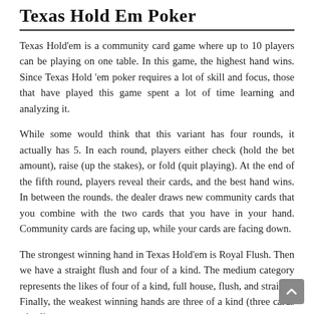Texas Hold Em Poker
Texas Hold'em is a community card game where up to 10 players can be playing on one table. In this game, the highest hand wins. Since Texas Hold 'em poker requires a lot of skill and focus, those that have played this game spent a lot of time learning and analyzing it.
While some would think that this variant has four rounds, it actually has 5. In each round, players either check (hold the bet amount), raise (up the stakes), or fold (quit playing). At the end of the fifth round, players reveal their cards, and the best hand wins. In between the rounds. the dealer draws new community cards that you combine with the two cards that you have in your hand. Community cards are facing up, while your cards are facing down.
The strongest winning hand in Texas Hold'em is Royal Flush. Then we have a straight flush and four of a kind. The medium category represents the likes of four of a kind, full house, flush, and straight. Finally, the weakest winning hands are three of a kind (three cards of different three suits), two pairs, one pair,